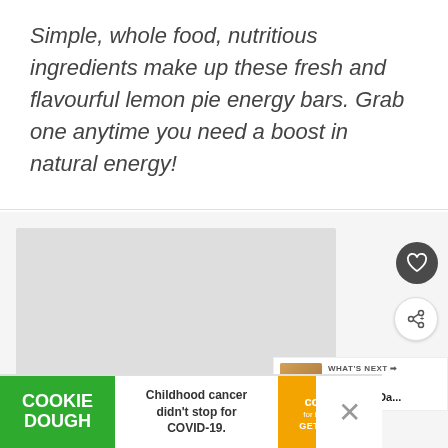Simple, whole food, nutritious ingredients make up these fresh and flavourful lemon pie energy bars. Grab one anytime you need a boost in natural energy!
[Figure (photo): Photo slideshow card showing lemon pie energy bars, with navigation dots below, a dark circular heart/save button and a white circular share button on the right side]
[Figure (infographic): What's Next panel showing a thumbnail of Healthy Pumpkin Oat cookies with label 'WHAT'S NEXT' and arrow]
[Figure (infographic): Cookie Dough advertisement banner: 'Childhood cancer didn't stop for COVID-19. COOKIE DOUGH / cookies for kids cancer / GET BAKING' with close button]